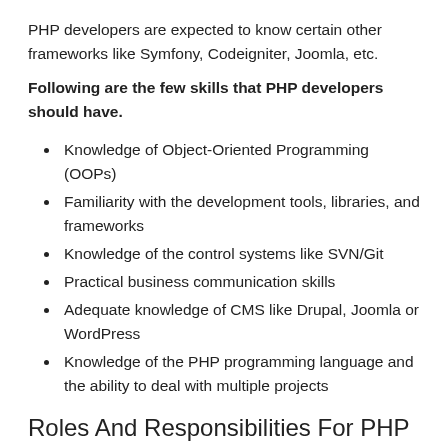PHP developers are expected to know certain other frameworks like Symfony, Codeigniter, Joomla, etc.
Following are the few skills that PHP developers should have.
Knowledge of Object-Oriented Programming (OOPs)
Familiarity with the development tools, libraries, and frameworks
Knowledge of the control systems like SVN/Git
Practical business communication skills
Adequate knowledge of CMS like Drupal, Joomla or WordPress
Knowledge of the PHP programming language and the ability to deal with multiple projects
Roles And Responsibilities For PHP